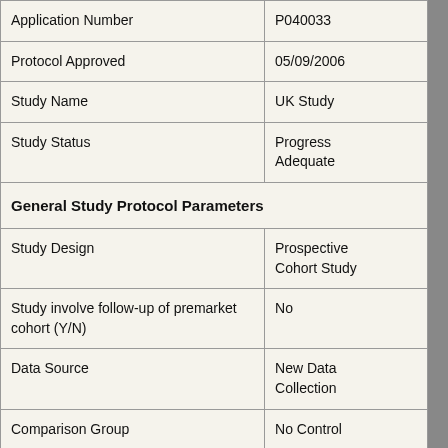| Application Number | P040033 |
| Protocol Approved | 05/09/2006 |
| Study Name | UK Study |
| Study Status | Progress
Adequate |
| General Study Protocol Parameters |  |
| Study Design | Prospective
Cohort Study |
| Study involve follow-up of premarket cohort (Y/N) | No |
| Data Source | New Data
Collection |
| Comparison Group | No Control |
| Analysis Type | Analytical |